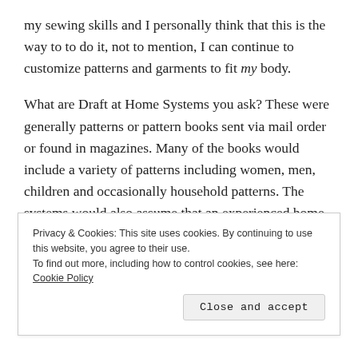my sewing skills and I personally think that this is the way to to do it, not to mention, I can continue to customize patterns and garments to fit my body.
What are Draft at Home Systems you ask? These were generally patterns or pattern books sent via mail order or found in magazines. Many of the books would include a variety of patterns including women, men, children and occasionally household patterns. The systems would also assume that an experienced home seamstresses would be using the patterns. In most cases patterns would not include facings, pockets or even instructions. It was up to you to
Privacy & Cookies: This site uses cookies. By continuing to use this website, you agree to their use.
To find out more, including how to control cookies, see here: Cookie Policy
Close and accept